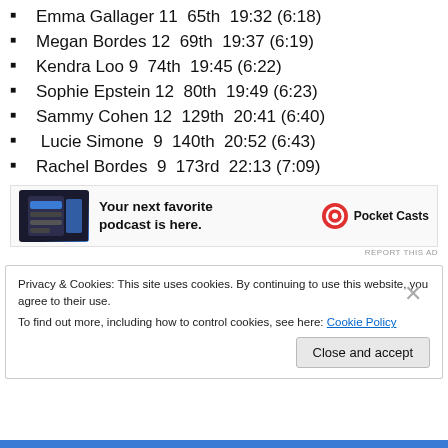Emma Gallager 11  65th  19:32 (6:18)
Megan Bordes 12  69th  19:37 (6:19)
Kendra Loo 9  74th  19:45 (6:22)
Sophie Epstein 12  80th  19:49 (6:23)
Sammy Cohen 12  129th  20:41 (6:40)
Lucie Simone  9  140th  20:52 (6:43)
Rachel Bordes  9  173rd  22:13 (7:09)
[Figure (infographic): Pocket Casts advertisement banner with phone screenshot and text: Your next favorite podcast is here.]
REPORT THIS AD
Privacy & Cookies: This site uses cookies. By continuing to use this website, you agree to their use.
To find out more, including how to control cookies, see here: Cookie Policy
Close and accept